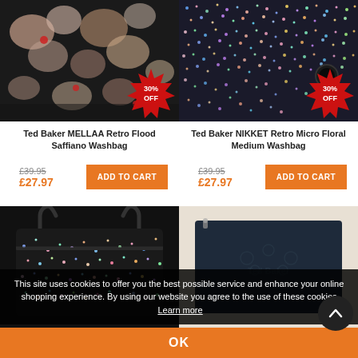[Figure (photo): Ted Baker MELLAA Retro Flood Saffiano Washbag product image with 30% OFF badge]
[Figure (photo): Ted Baker NIKKET Retro Micro Floral Medium Washbag product image with 30% OFF badge]
Ted Baker MELLAA Retro Flood Saffiano Washbag
Ted Baker NIKKET Retro Micro Floral Medium Washbag
£39.95 £27.97 ADD TO CART
£39.95 £27.97 ADD TO CART
[Figure (photo): Glittery black small washbag with handles, bottom left product]
[Figure (photo): Dark navy Ted Baker clutch/wallet, bottom right product]
This site uses cookies to offer you the best possible service and enhance your online shopping experience. By using our website you agree to the use of these cookies  Learn more
OK